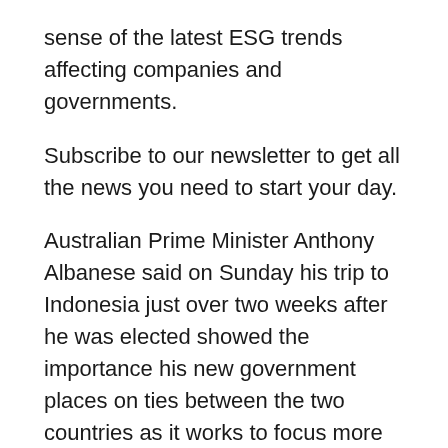sense of the latest ESG trends affecting companies and governments. Subscribe to our newsletter to get all the news you need to start your day. Australian Prime Minister Anthony Albanese said on Sunday his trip to Indonesia just over two weeks after he was elected showed the importance his new government places on ties between the two countries as it works to focus more on Southeast Asia. Reuters, the news and media division of Thomson Reuters, is the world's largest multimedia news provider, reaching billions of people worldwide every day. Reuters provides business, financial, national and international news to professionals via desktop terminals, the world's media organisations, industry events and directly to